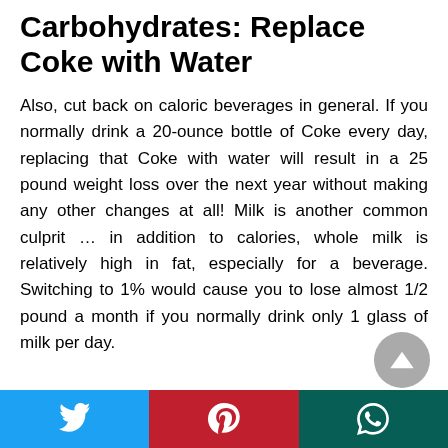Carbohydrates: Replace Coke with Water
Also, cut back on caloric beverages in general. If you normally drink a 20-ounce bottle of Coke every day, replacing that Coke with water will result in a 25 pound weight loss over the next year without making any other changes at all! Milk is another common culprit … in addition to calories, whole milk is relatively high in fat, especially for a beverage. Switching to 1% would cause you to lose almost 1/2 pound a month if you normally drink only 1 glass of milk per day.
[Figure (other): Social share bar with Twitter (blue), Pinterest (red), and WhatsApp (dark teal) buttons at the bottom of the page]